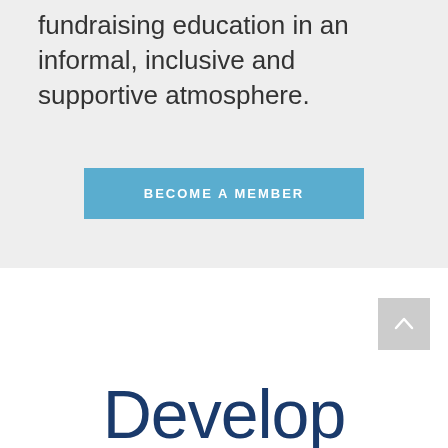fundraising education in an informal, inclusive and supportive atmosphere.
BECOME A MEMBER
[Figure (other): Scroll-to-top button with upward chevron arrow, gray background]
Develop